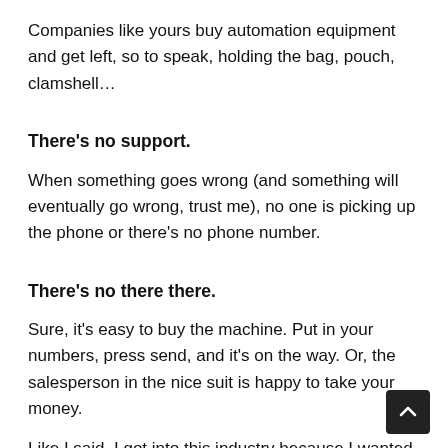Companies like yours buy automation equipment and get left, so to speak, holding the bag, pouch, clamshell…
There's no support.
When something goes wrong (and something will eventually go wrong, trust me), no one is picking up the phone or there's no phone number.
There's no there there.
Sure, it's easy to buy the machine. Put in your numbers, press send, and it's on the way. Or, the salesperson in the nice suit is happy to take your money.
Like I said, I got into this industry because I wanted to help businesses grow, and that's still true today.